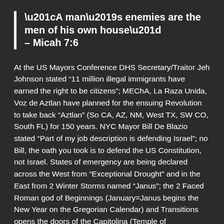“A man’s enemies are the men of his own house” – Micah 7:6
At the US Mayors Conference DHS Secretary/Traitor Jeh Johnson stated “11 million illegal immigrants have earned the right to be citizens”; MEChA, La Raza Unida, Voz de Aztlan have planned for the ensuing Revolution to take back “Aztlan” (So CA, AZ, NM, West TX, SW CO, South FL) for 150 years. NYC Mayor Bill De Blazio stated “Part of my job description is defending Israel”; no Bill, the oath you took is to defend the US Constitution, not Israel. States of emergency are being declared across the West from “Exceptional Drought” and in the East from 2 Winter Storms named “Janus”; the 2 Faced Roman god of Beginnings (January=Janus begins the New Year on the Gregorian Calendar) and Transitions opens the doors of the Capitolina (Temple of Jupiter/Zeus) in times of War; Congress is derived from Congredi “To meet for War”; they meet in the Capitol “Womb of Jupiter”; the doors of War are open alright! Ever wonder why the Fasces (Bundle of Rods bound by Red Cord surrounding an Axe Blade) would be next to the Speaker’s Podium? Fascism is the Cult of Isis. The Fasces is also on the Supreme Court Doors